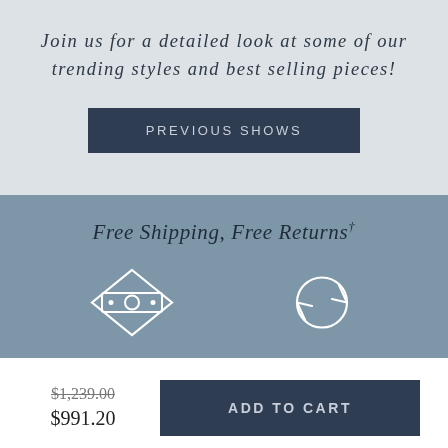Join us for a detailed look at some of our trending styles and best selling pieces!
PREVIOUS SHOWS
Free Shipping, Free Returns†
[Figure (illustration): Two white outline icons: a money/cash icon on the left and a circular refresh/return arrows icon on the right, on a blue-grey background.]
$1,239.00 $991.20
ADD TO CART